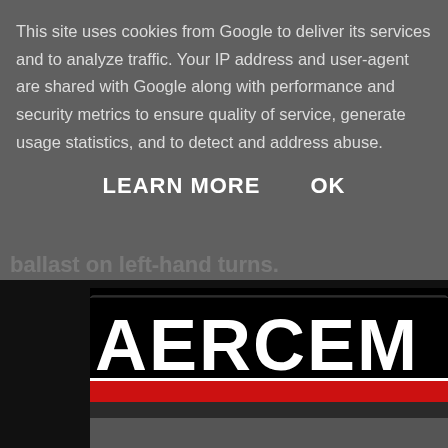[Figure (photo): Close-up photo of a Mercedes branded sign/banner with large white letters on black background and a red stripe below, set against a dark/grey surface. Only partial letters 'AERCE M' visible.]
ballast on left-hand turns.
This site uses cookies from Google to deliver its services and to analyze traffic. Your IP address and user-agent are shared with Google along with performance and security metrics to ensure quality of service, generate usage statistics, and to detect and address abuse.
LEARN MORE   OK